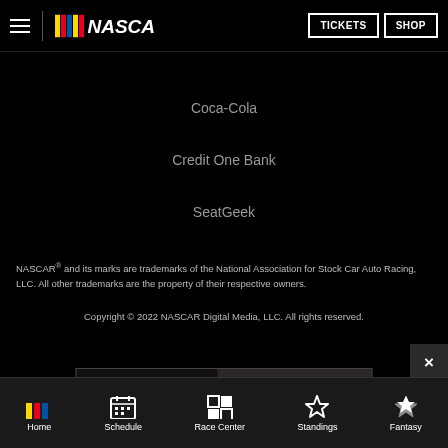NASCAR | TICKETS | SHOP
Coca-Cola
Credit One Bank
SeatGeek
NASCAR® and its marks are trademarks of the National Association for Stock Car Auto Racing, LLC. All other trademarks are the property of their respective owners.
Copyright © 2022 NASCAR Digital Media, LLC. All rights reserved.
[Figure (screenshot): NASCAR advertisement banner: NASCAR logo with 'BUY TICKETS!' button in red, race car image, text 'YOU'VE GOTTA BE THERE!']
Home | Schedule | Race Center | Standings | Fantasy